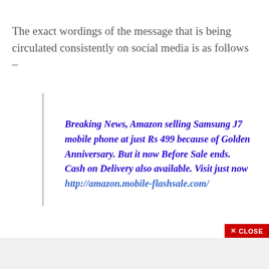The exact wordings of the message that is being circulated consistently on social media is as follows –
Breaking News, Amazon selling Samsung J7 mobile phone at just Rs 499 because of Golden Anniversary. But it now Before Sale ends. Cash on Delivery also available. Visit just now http://amazon.mobile-flashsale.com/
[Figure (screenshot): Close button with red background showing X CLOSE text]